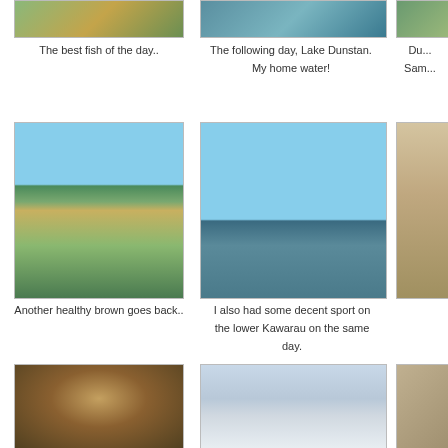[Figure (photo): Fish being held near water surface - the best fish of the day]
The best fish of the day..
[Figure (photo): Lake Dunstan view from water - home water]
The following day, Lake Dunstan. My home water!
[Figure (photo): Partially visible photo on right edge - Du... Sam...]
Du...
Sam...
[Figure (photo): Underwater split-shot photo of a healthy brown trout being released]
Another healthy brown goes back..
[Figure (photo): Lower Kawarau river scene with blue sky and mountains]
I also had some decent sport on the lower Kawarau on the same day.
[Figure (photo): Partially visible photo on right edge]
[Figure (photo): Close-up of a hedgehog or echidna face]
[Figure (photo): Misty lake or sea scene with birds flying]
[Figure (photo): Partially visible photo on right edge]